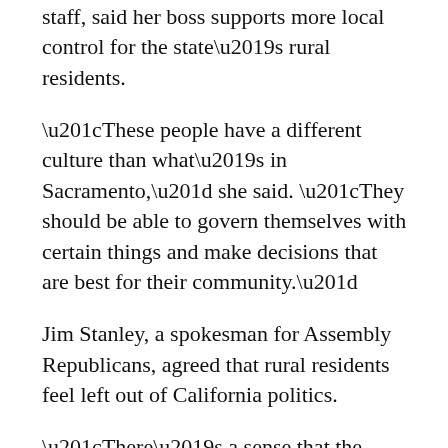staff, said her boss supports more local control for the state’s rural residents.
“These people have a different culture than what’s in Sacramento,” she said. “They should be able to govern themselves with certain things and make decisions that are best for their community.”
Jim Stanley, a spokesman for Assembly Republicans, agreed that rural residents feel left out of California politics.
“There’s a sense that the bigger cities kind of run things around Sacramento,” he said. “When people feel like they’re not being heard, it’s natural to respond. It’s all about feeling you have a voice in the room.”
And when it comes to hearing voices around Needles